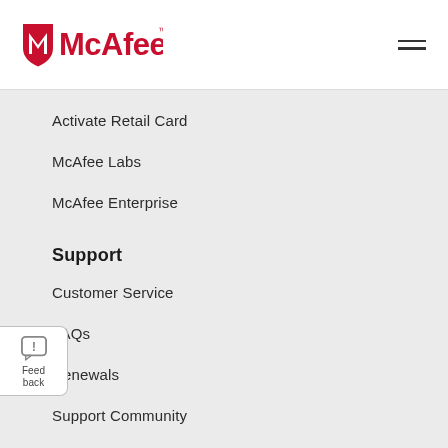[Figure (logo): McAfee logo — red shield icon with M cutout and 'McAfee' wordmark in red with TM superscript]
Activate Retail Card
McAfee Labs
McAfee Enterprise
Support
Customer Service
FAQs
Renewals
Support Community